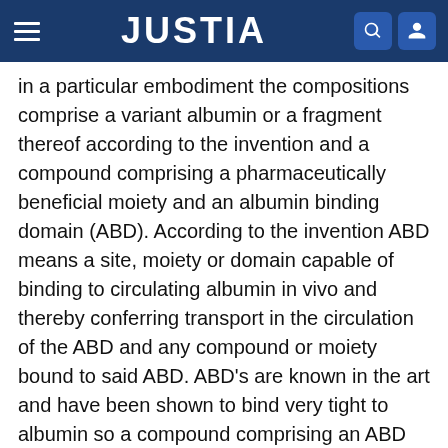JUSTIA
in a particular embodiment the compositions comprise a variant albumin or a fragment thereof according to the invention and a compound comprising a pharmaceutically beneficial moiety and an albumin binding domain (ABD). According to the invention ABD means a site, moiety or domain capable of binding to circulating albumin in vivo and thereby conferring transport in the circulation of the ABD and any compound or moiety bound to said ABD. ABD's are known in the art and have been shown to bind very tight to albumin so a compound comprising an ABD bound to albumin will to a certain extent behave as a single molecule. The inventors have realized by using the variant albumin or fragment thereof according to the invention together with a compound comprising a pharmaceutically beneficial moiety and an ABD makes it possible to alter the plasma half-life of the compound